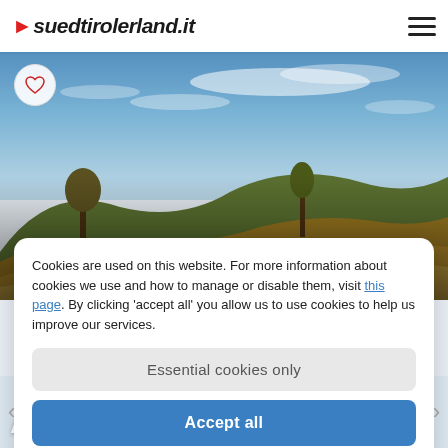suedtirolerland.it
[Figure (photo): Autumn landscape with vineyard and hillside under blue sky with wispy clouds — hero image for 'Autumn hike to Planatsch']
Autumn hike to Planatsch
Cookies are used on this website. For more information about cookies we use and how to manage or disable them, visit this page. By clicking 'accept all' you allow us to use cookies to help us improve our services.
Essential cookies only
Accept all
★★★★
Hotel Rudolf
Your hiking hotel at the Plan de Corones...